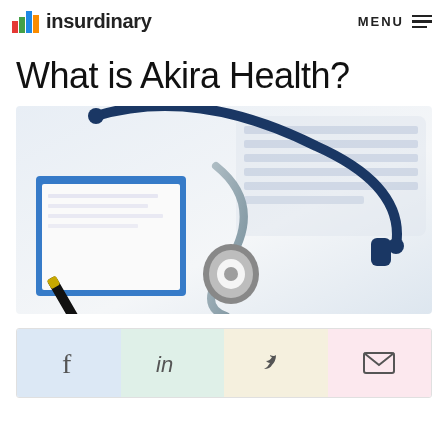insurdinary  MENU
What is Akira Health?
[Figure (photo): A blue stethoscope resting on a clipboard with papers and a pen, next to a computer keyboard on a white background.]
Social share buttons: Facebook, LinkedIn, Twitter, Email